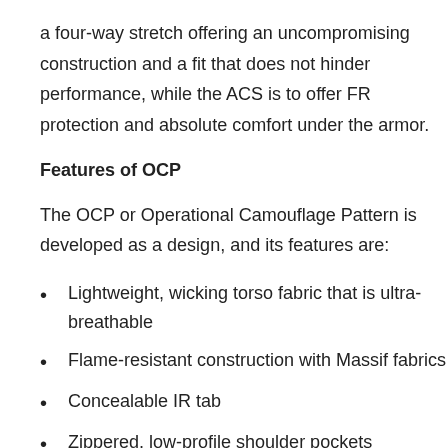a four-way stretch offering an uncompromising construction and a fit that does not hinder performance, while the ACS is to offer FR protection and absolute comfort under the armor.
Features of OCP
The OCP or Operational Camouflage Pattern is developed as a design, and its features are:
Lightweight, wicking torso fabric that is ultra-breathable
Flame-resistant construction with Massif fabrics
Concealable IR tab
Zippered, low-profile shoulder pockets